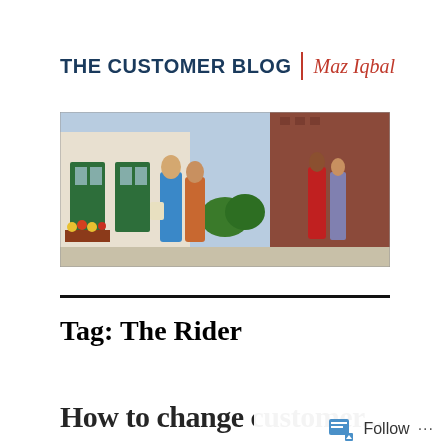THE CUSTOMER BLOG | Maz Iqbal
[Figure (photo): Street scene with people walking in front of shops with green doors and brick buildings on a sunny day. Two women in colorful clothes (blue and orange) walking in the foreground.]
Tag: The Rider
How to change customer...